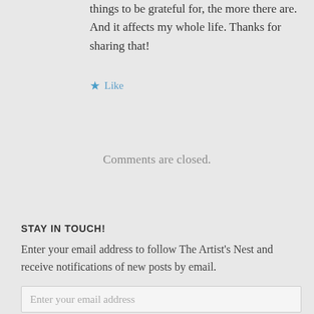things to be grateful for, the more there are. And it affects my whole life. Thanks for sharing that!
★ Like
Comments are closed.
STAY IN TOUCH!
Enter your email address to follow The Artist's Nest and receive notifications of new posts by email.
Enter your email address